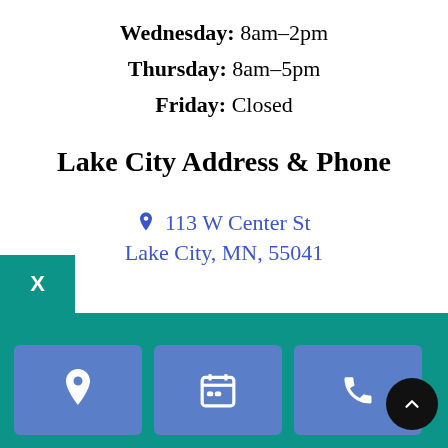Wednesday: 8am–2pm
Thursday: 8am–5pm
Friday: Closed
Lake City Address & Phone
📍 113 W Center St
Lake City, MN, 55041
[Figure (screenshot): Bottom navigation bar with teal background and three blue icon buttons (location pin, calendar, phone), plus X close button and scroll-to-top circle button]